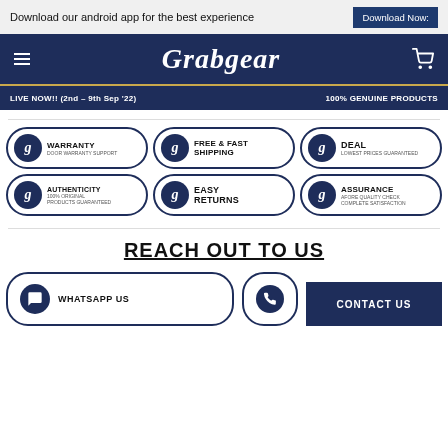Download our android app for the best experience | Download Now:
Grabgear
LIVE NOW!! (2nd - 9th Sep '22) | 100% GENUINE PRODUCTS
[Figure (infographic): Six feature badges in a 2x3 grid: WARRANTY (DOOR WARRANTY SUPPORT), FREE & FAST SHIPPING, DEAL (LOWEST PRICES GUARANTEED), AUTHENTICITY (100% ORIGINAL PRODUCTS GUARANTEED), EASY RETURNS, ASSURANCE (AFORE QUALITY CHECK COMPLETE SATISFACTION)]
REACH OUT TO US
[Figure (infographic): WHATSAPP US badge and CONTACT US dark blue box with a phone badge]